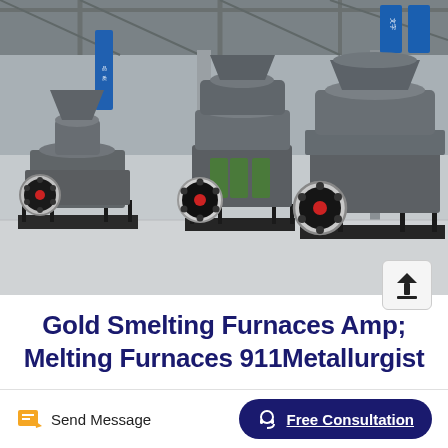[Figure (photo): Industrial photograph showing three large grey cone crusher machines lined up in an industrial warehouse/factory setting. The machines have red flywheels and are mounted on black steel frames. The facility has a concrete floor and metal/corrugated roof structure.]
Gold Smelting Furnaces Amp; Melting Furnaces 911Metallurgist
Send Message
Free Consultation